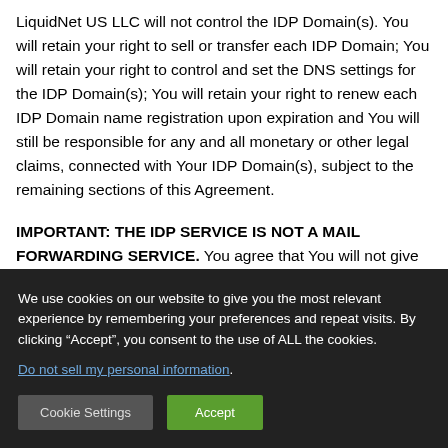LiquidNet US LLC will not control the IDP Domain(s). You will retain your right to sell or transfer each IDP Domain; You will retain your right to control and set the DNS settings for the IDP Domain(s); You will retain your right to renew each IDP Domain name registration upon expiration and You will still be responsible for any and all monetary or other legal claims, connected with Your IDP Domain(s), subject to the remaining sections of this Agreement.
IMPORTANT: THE IDP SERVICE IS NOT A MAIL FORWARDING SERVICE.
You agree that You will not give to
We use cookies on our website to give you the most relevant experience by remembering your preferences and repeat visits. By clicking “Accept”, you consent to the use of ALL the cookies.
Do not sell my personal information.
Cookie Settings
Accept